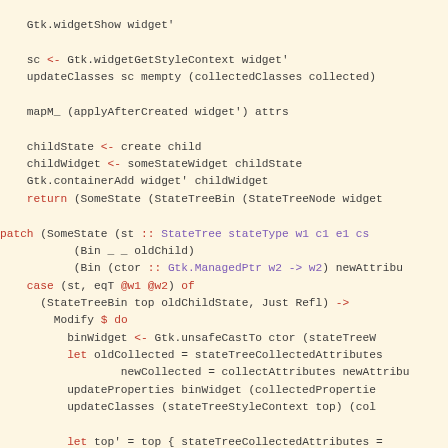Haskell source code snippet showing GTK widget creation, patch function, and state tree manipulation with Bin constructors and child state management.